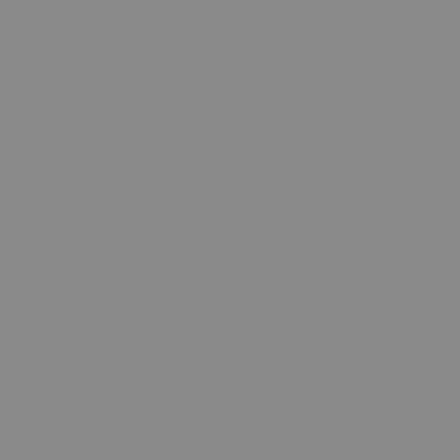$18.00
$19.5
[Figure (photo): Album cover for 'The First Circle' on pale mint/green background with abstract line art and the text 'THE FIRST CIRCLE' at the top]
Various/THE FIRST CIRCLE LP
$28.50
[Figure (photo): Partial view of a dark blue circle on white background — right side of another album cover]
Vario V1 D
$21.0
[Figure (photo): Album cover for 'The Hive: Volume 1' — black background with small purple pixel-art shapes resembling seats or crates in the center]
Various/THE HIVE: VOLUME 1 DLP
$30.00
[Figure (photo): Partial right-side view of another album cover with pinkish/skin-tone background and some text or design elements]
Vario
$12.0